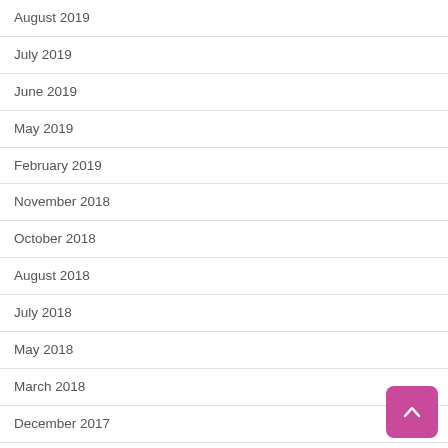August 2019
July 2019
June 2019
May 2019
February 2019
November 2018
October 2018
August 2018
July 2018
May 2018
March 2018
December 2017
September 2017
August 2017
June 2017